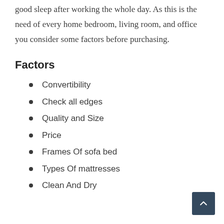good sleep after working the whole day. As this is the need of every home bedroom, living room, and office you consider some factors before purchasing.
Factors
Convertibility
Check all edges
Quality and Size
Price
Frames Of sofa bed
Types Of mattresses
Clean And Dry